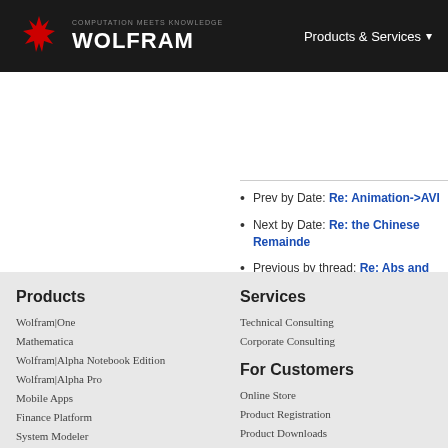COMPUTATION MEETS KNOWLEDGE | WOLFRAM | Products & Services
Prev by Date: Re: Animation->AVI
Next by Date: Re: the Chinese Remainder...
Previous by thread: Re: Abs and derivativ...
Next by thread: Comparison of Mathemat...
Products
Wolfram|One
Mathematica
Wolfram|Alpha Notebook Edition
Wolfram|Alpha Pro
Mobile Apps
Finance Platform
System Modeler
Wolfram Player
Wolfram Engine
Services
Technical Consulting
Corporate Consulting
For Customers
Online Store
Product Registration
Product Downloads
Service Plans Benefits
User Portal
Your Account